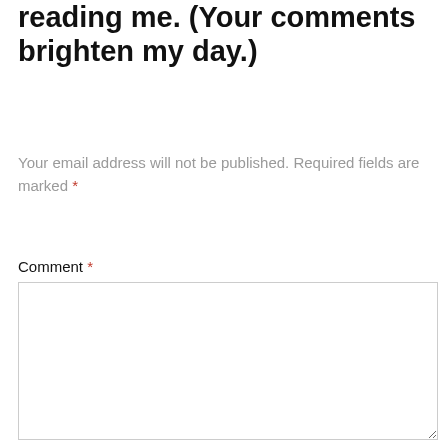reading me. (Your comments brighten my day.)
Your email address will not be published. Required fields are marked *
Comment *